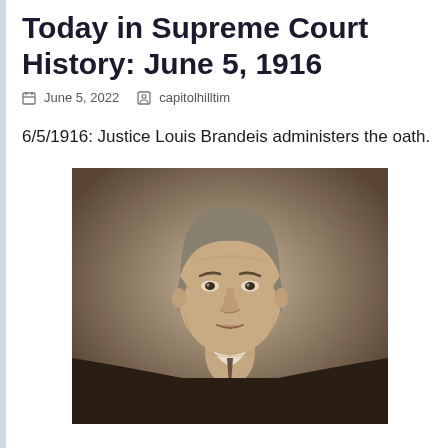Today in Supreme Court History: June 5, 1916
June 5, 2022   capitolhilltim
6/5/1916: Justice Louis Brandeis administers the oath.
[Figure (photo): Sepia-toned formal portrait photograph of Justice Louis Brandeis, showing him from the chest up, wearing a dark suit and tie, with wavy gray hair, looking directly at the camera with a serious expression.]